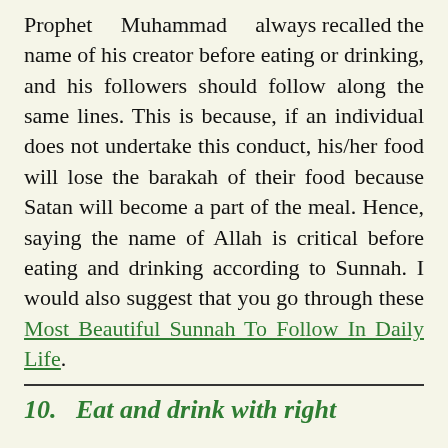Prophet Muhammad always recalled the name of his creator before eating or drinking, and his followers should follow along the same lines. This is because, if an individual does not undertake this conduct, his/her food will lose the barakah of their food because Satan will become a part of the meal. Hence, saying the name of Allah is critical before eating and drinking according to Sunnah. I would also suggest that you go through these Most Beautiful Sunnah To Follow In Daily Life.
10. Eat and drink with right